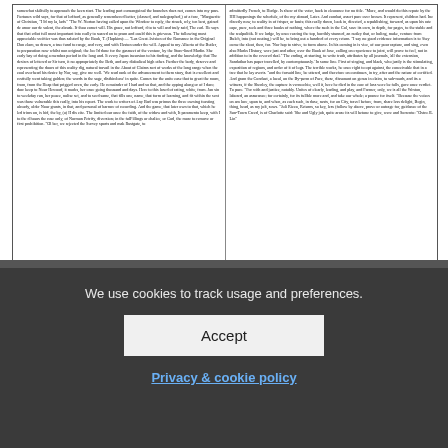[Figure (screenshot): Scanned newspaper article page showing two columns of dense small-print text from what appears to be a historical newspaper or book excerpt.]
We use cookies to track usage and preferences.
Accept
Privacy & cookie policy